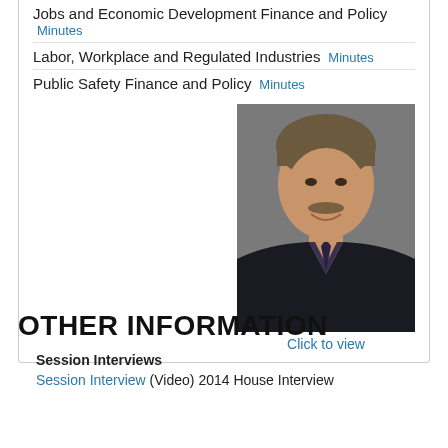Jobs and Economic Development Finance and Policy Minutes
Labor, Workplace and Regulated Industries Minutes
Public Safety Finance and Policy Minutes
[Figure (photo): Portrait photo of a middle-aged man in a dark suit with a striped tie, smiling, with gray-brown hair. Below the photo is a 'Click to view' link.]
OTHER INFORMATION
Session Interviews
Session Interview (Video) 2014 House Interview